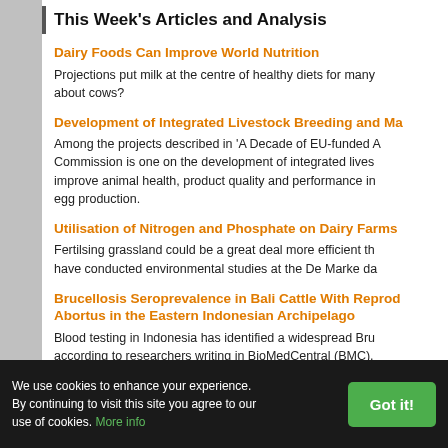This Week's Articles and Analysis
Dairy Foods Can Improve World Nutrition
Projections put milk at the centre of healthy diets for many... about cows?
Development of Integrated Livestock Breeding and Ma...
Among the projects described in 'A Decade of EU-funded A... Commission is one on the development of integrated lives... improve animal health, product quality and performance in... egg production.
Utilisation of Nitrogen and Phosphate on Dairy Farms
Fertilsing grassland could be a great deal more efficient th... have conducted environmental studies at the De Marke da...
Brucellosis Seroprevalence in Bali Cattle With Reprod... Abortus in the Eastern Indonesian Archipelago
Blood testing in Indonesia has identified a widespread Bru... according to researchers writing in BioMedCentral (BMC).
We use cookies to enhance your experience. By continuing to visit this site you agree to our use of cookies. More info